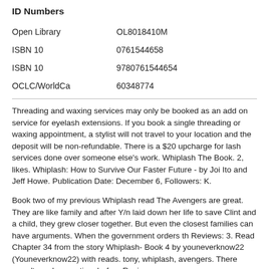ID Numbers
| Open Library | OL8018410M |
| ISBN 10 | 0761544658 |
| ISBN 10 | 9780761544654 |
| OCLC/WorldCa | 60348774 |
Threading and waxing services may only be booked as an add on service for eyelash extensions. If you book a single threading or waxing appointment, a stylist will not travel to your location and the deposit will be non-refundable. There is a $20 upcharge for lash services done over someone else's work. Whiplash The Book. 2, likes. Whiplash: How to Survive Our Faster Future - by Joi Ito and Jeff Howe. Publication Date: December 6, Followers: K.
Book two of my previous Whiplash read The Avengers are great. They are like family and after Y/n laid down her life to save Clint and a child, they grew closer together. But even the closest families can have arguments. When the government orders th Reviews: 3. Read Chapter 34 from the story Whiplash- Book 4 by youneverknow22 (Youneverknow22) with reads. tony, whiplash, avengers. There wasn't much more time before Reviews:
Mar 06,  · Through time - whiplash The book starts out a little clunky. The heroine isn't consistent. One time she's smart, the next, she acts